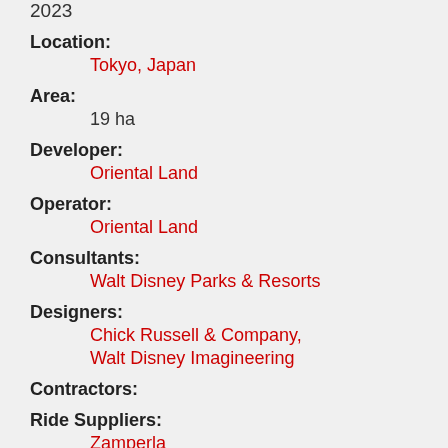2023
Location:
Tokyo, Japan
Area:
19 ha
Developer:
Oriental Land
Operator:
Oriental Land
Consultants:
Walt Disney Parks & Resorts
Designers:
Chick Russell & Company, Walt Disney Imagineering
Contractors:
Ride Suppliers:
Zamperla